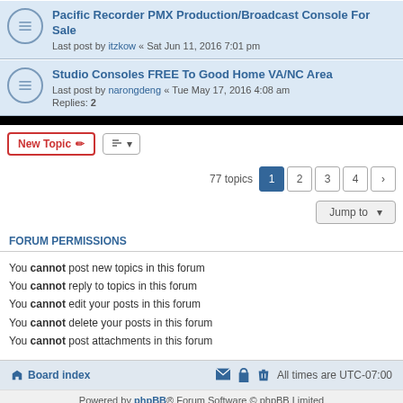Pacific Recorder PMX Production/Broadcast Console For Sale
Last post by itzkow « Sat Jun 11, 2016 7:01 pm
Studio Consoles FREE To Good Home VA/NC Area
Last post by narongdeng « Tue May 17, 2016 4:08 am
Replies: 2
77 topics
FORUM PERMISSIONS
You cannot post new topics in this forum
You cannot reply to topics in this forum
You cannot edit your posts in this forum
You cannot delete your posts in this forum
You cannot post attachments in this forum
Board index | All times are UTC-07:00
Powered by phpBB® Forum Software © phpBB Limited